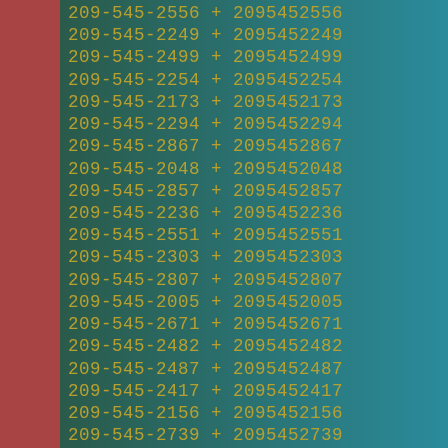| Phone Number |  | Numeric |
| --- | --- | --- |
| 209-545-2556 | + | 2095452556 |
| 209-545-2249 | + | 2095452249 |
| 209-545-2499 | + | 2095452499 |
| 209-545-2254 | + | 2095452254 |
| 209-545-2173 | + | 2095452173 |
| 209-545-2294 | + | 2095452294 |
| 209-545-2867 | + | 2095452867 |
| 209-545-2048 | + | 2095452048 |
| 209-545-2857 | + | 2095452857 |
| 209-545-2236 | + | 2095452236 |
| 209-545-2551 | + | 2095452551 |
| 209-545-2303 | + | 2095452303 |
| 209-545-2807 | + | 2095452807 |
| 209-545-2005 | + | 2095452005 |
| 209-545-2671 | + | 2095452671 |
| 209-545-2482 | + | 2095452482 |
| 209-545-2487 | + | 2095452487 |
| 209-545-2417 | + | 2095452417 |
| 209-545-2156 | + | 2095452156 |
| 209-545-2739 | + | 2095452739 |
| 209-545-2686 | + | 2095452686 |
| 209-545-2427 | + | 2095452427 |
| 209-545-2940 | + | 2095452940 |